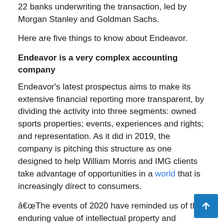22 banks underwriting the transaction, led by Morgan Stanley and Goldman Sachs.
Here are five things to know about Endeavor.
Endeavor is a very complex accounting company
Endeavor's latest prospectus aims to make its extensive financial reporting more transparent, by dividing the activity into three segments: owned sports properties; events, experiences and rights; and representation. As it did in 2019, the company is pitching this structure as one designed to help William Morris and IMG clients take advantage of opportunities in a world that is increasingly direct to consumers.
“The events of 2020 have reminded us of the enduring value of intellectual property and premium content, while strengthening our position within the sports and entertainment ecosystem,” wrote Managing Director Ari Emanuel. in a letter included in the prospectus.